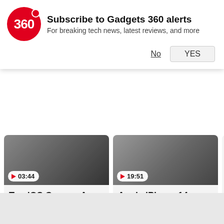[Figure (screenshot): Gadgets 360 logo — red circle with '360' text in white]
Subscribe to Gadgets 360 alerts
For breaking tech news, latest reviews, and more
No
YES
[Figure (screenshot): Video thumbnail for Top iOS Camera Apps You Should Try! with timer 03:44]
Top iOS Camera Apps You Should Try!
[Figure (screenshot): Video thumbnail for Apple iPhone 14: What Can We Expect? with timer 19:51]
Apple iPhone 14: What Can We Expect?
Tech News in Hindi »
Motorola Edge 30 Neo को स्पेसिफिकेशन्स आया सामने, जानें क्या होगा खास?